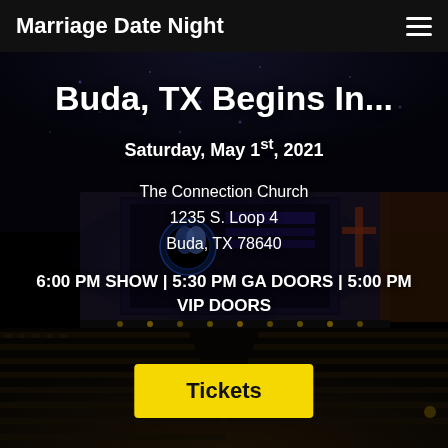Marriage Date Night
[Figure (photo): Interior of a dark theater/church auditorium with rows of seats, a stage with screens showing 'Marriage Date Night' branding, and atmospheric lighting.]
Buda, TX Begins In...
Saturday, May 1st, 2021
The Connection Church
1235 S. Loop 4
Buda, TX 78640
6:00 PM SHOW | 5:30 PM GA DOORS | 5:00 PM VIP DOORS
Tickets